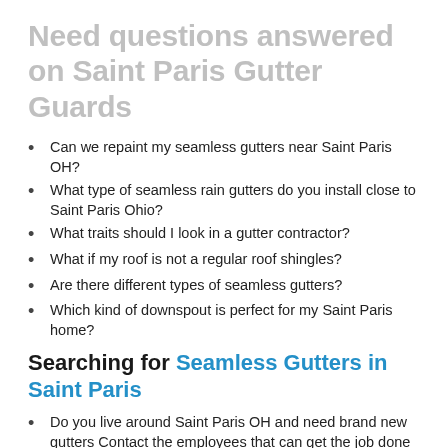Need questions answered on Saint Paris Gutter Guards
Can we repaint my seamless gutters near Saint Paris OH?
What type of seamless rain gutters do you install close to Saint Paris Ohio?
What traits should I look in a gutter contractor?
What if my roof is not a regular roof shingles?
Are there different types of seamless gutters?
Which kind of downspout is perfect for my Saint Paris home?
Searching for Seamless Gutters in Saint Paris
Do you live around Saint Paris OH and need brand new gutters Contact the employees that can get the job done on your budget.
Knowing the best ways to mount seamless gutters is a craft and we know how to finish the job properly the very first time.
Saint Paris Seamless Gutters can provide you with a bid for the seamless gutters within Saint Paris Ohio.